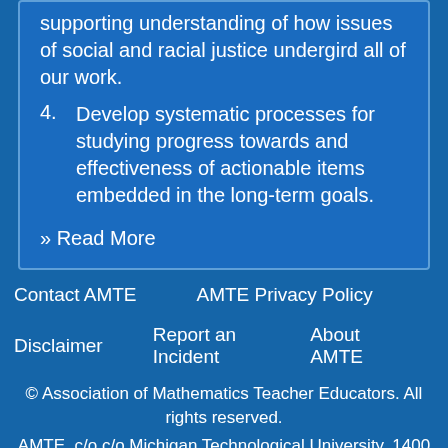supporting understanding of how issues of social and racial justice undergird all of our work.
4. Develop systematic processes for studying progress towards and effectiveness of actionable items embedded in the long-term goals.
» Read More
Contact AMTE   AMTE Privacy Policy   Disclaimer   Report an Incident   About AMTE   © Association of Mathematics Teacher Educators. All rights reserved.   AMTE, c/o c/o Michigan Technological University, 1400 Townsend Drive, Houghton, MI 49931